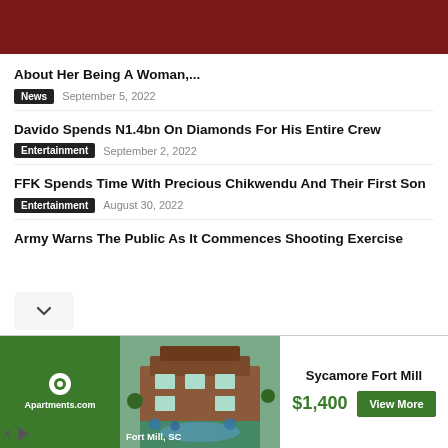About Her Being A Woman,...
News   September 5, 2022
Davido Spends N1.4bn On Diamonds For His Entire Crew
Entertainment   September 2, 2022
FFK Spends Time With Precious Chikwendu And Their First Son
Entertainment   August 30, 2022
Army Warns The Public As It Commences Shooting Exercise
[Figure (photo): Sycamore Fort Mill apartment advertisement banner with photo of building pool area, Fort Mill SC, $1,400 price, View More button, Apartments.com logo]